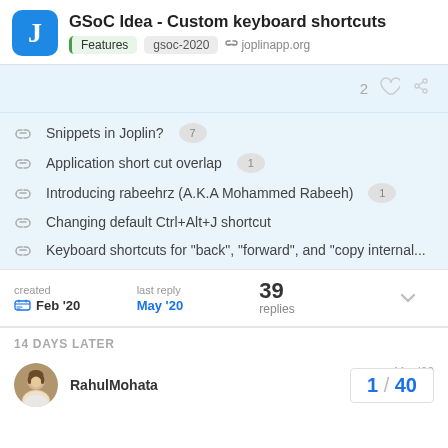GSoC Idea - Custom keyboard shortcuts | Features | gsoc-2020 | joplinapp.org
Snippets in Joplin? 7
Application short cut overlap 1
Introducing rabeehrz (A.K.A Mohammed Rabeeh) 1
Changing default Ctrl+Alt+J shortcut
Keyboard shortcuts for "back", "forward", and "copy internal...
created Feb '20 | last reply May '20 | 39 replies
14 DAYS LATER
RahulMohata  Mar '20
1 / 40